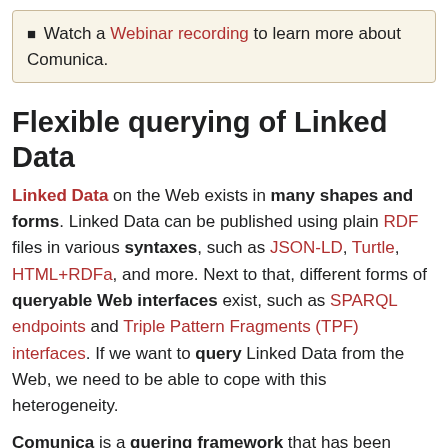Watch a Webinar recording to learn more about Comunica.
Flexible querying of Linked Data
Linked Data on the Web exists in many shapes and forms. Linked Data can be published using plain RDF files in various syntaxes, such as JSON-LD, Turtle, HTML+RDFa, and more. Next to that, different forms of queryable Web interfaces exist, such as SPARQL endpoints and Triple Pattern Fragments (TPF) interfaces. If we want to query Linked Data from the Web, we need to be able to cope with this heterogeneity.
Comunica is a quering framework that has been designed to handle different types of Linked Data interfaces in a flexible manner. Its primary goal is executing SPARQL queries over one or more interfaces.